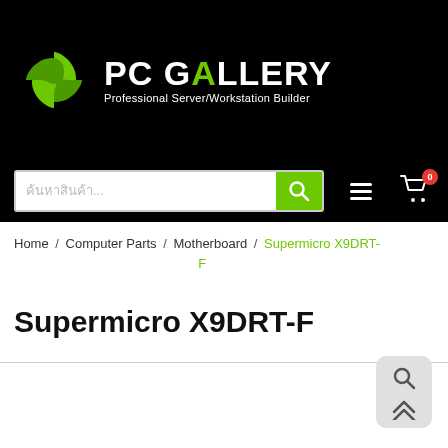[Figure (logo): PC Gallery logo: green pinwheel icon, white bold text 'PC GALLERY' with 'AL' in green, tagline 'Professional Server/Workstation Builder' in white]
[Figure (screenshot): Search bar with Thai placeholder text and green search button, hamburger menu icon, cart icon with red badge showing 0]
Home / Computer Parts / Motherboard / Supermicro X9DRT-F
Supermicro X9DRT-F
[Figure (screenshot): Floating action buttons: search icon and up-arrow icon on light grey rounded rectangle background]